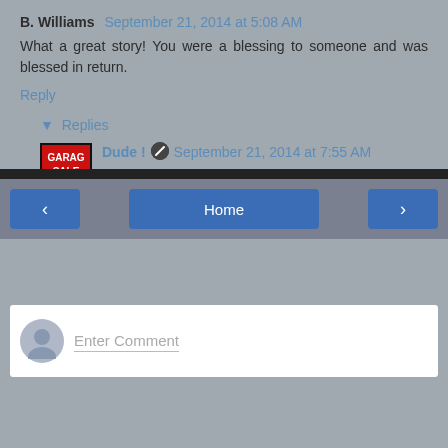B. Williams September 21, 2014 at 5:08 AM
What a great story! You were a blessing to someone and was blessed in return.
Reply
▼ Replies
Dude ! September 21, 2014 at 7:55 AM
Thanks, I am glad you enjoyed it....Dude!
Reply
Enter Comment